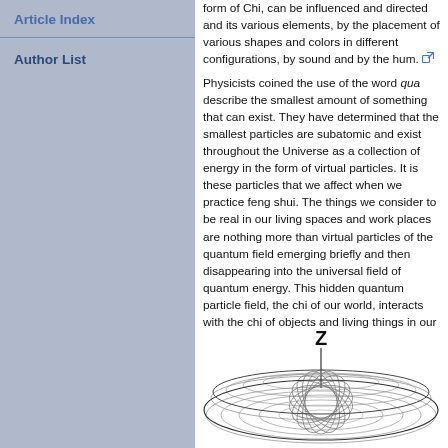Article Index
Author List
form of Chi, can be influenced and directed and its various elements, by the placement of various shapes and colors in different configurations, by sound and by the hum. [external link]
Physicists coined the use of the word qua to describe the smallest amount of something that can exist. They have determined that the smallest particles are subatomic and exist throughout the Universe as a collection of energy in the form of virtual particles. It is these particles that we affect when we practice feng shui. The things we consider to be real in our living spaces and work places are nothing more than virtual particles of the quantum field emerging briefly and then disappearing into the universal field of quantum energy. This hidden quantum particle field, the chi of our world, interacts with the chi of objects and living things in our surroundings.
[Figure (engineering-diagram): 3D wireframe torus-like shape with a Z axis label shown at top, rendered in a technical/mathematical diagram style]